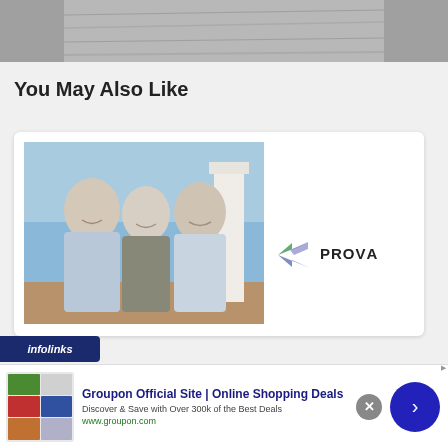[Figure (photo): Top portion of a photo showing what appears to be a textured surface or road, cropped at the top of the page]
You May Also Like
[Figure (photo): Photo of three people (two men and a woman) standing together outdoors in front of a white column structure with a blue sky background, next to a PROVA branded sign/logo]
[Figure (logo): infolinks logo bar in dark blue]
[Figure (screenshot): Groupon advertisement banner: 'Groupon Official Site | Online Shopping Deals - Discover & Save with Over 300k of the Best Deals - www.groupon.com' with a close button and arrow navigation button]